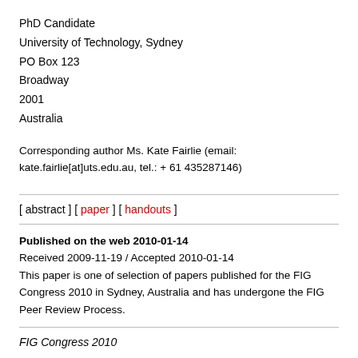PhD Candidate
University of Technology, Sydney
PO Box 123
Broadway
2001
Australia
Corresponding author Ms. Kate Fairlie (email: kate.fairlie[at]uts.edu.au, tel.: + 61 435287146)
[ abstract ] [ paper ] [ handouts ]
Published on the web 2010-01-14
Received 2009-11-19 / Accepted 2010-01-14
This paper is one of selection of papers published for the FIG Congress 2010 in Sydney, Australia and has undergone the FIG Peer Review Process.
FIG Congress 2010